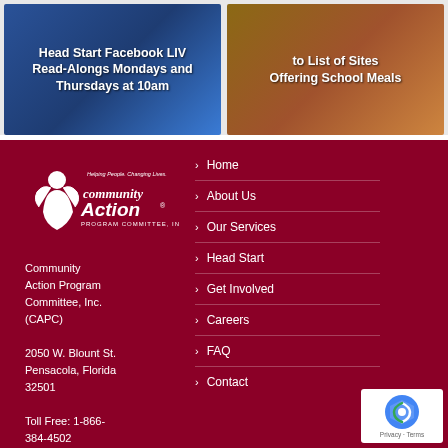[Figure (photo): Head Start Facebook LIVE Read-Alongs Mondays and Thursdays at 10am promo card with dark blue background]
[Figure (photo): Link to List of Sites Offering School Meals promo card with brown/tan background]
[Figure (logo): Community Action Program Committee, Inc. logo - white logo on dark red background with tagline Helping People, Changing Lives]
Community Action Program Committee, Inc. (CAPC)

2050 W. Blount St. Pensacola, Florida 32501

Toll Free: 1-866-384-4502
Home
About Us
Our Services
Head Start
Get Involved
Careers
FAQ
Contact